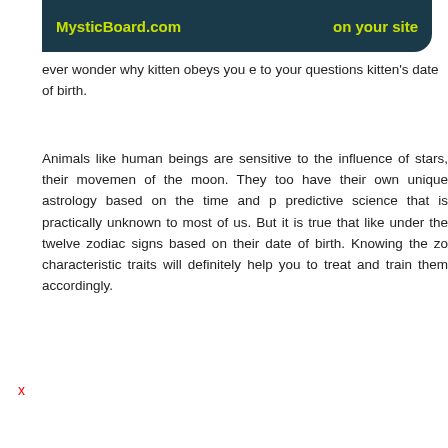MysticBoard.com | on your site
ever wonder why kitten obeys you e to your questions kitten's date of birth.
Animals like human beings are sensitive to the influence of stars, their movemen of the moon. They too have their own unique astrology based on the time and p predictive science that is practically unknown to most of us. But it is true that like under the twelve zodiac signs based on their date of birth. Knowing the zo characteristic traits will definitely help you to treat and train them accordingly.
x